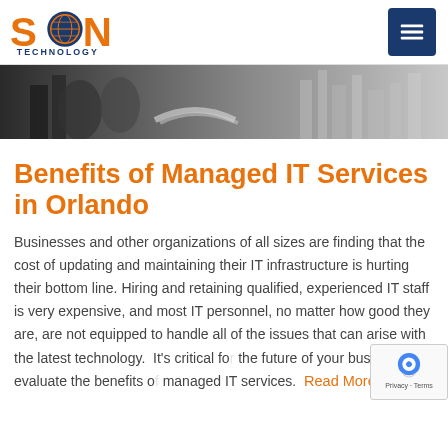SON Technology – navigation header with logo and hamburger menu
[Figure (photo): Hero banner image showing businesspeople shaking hands with a city skyline in the background, grayscale/blue toned]
Benefits of Managed IT Services in Orlando
Businesses and other organizations of all sizes are finding that the cost of updating and maintaining their IT infrastructure is hurting their bottom line. Hiring and retaining qualified, experienced IT staff is very expensive, and most IT personnel, no matter how good they are, are not equipped to handle all of the issues that can arise with the latest technology.  It's critical for the future of your business to evaluate the benefits of managed IT services.  Read More »